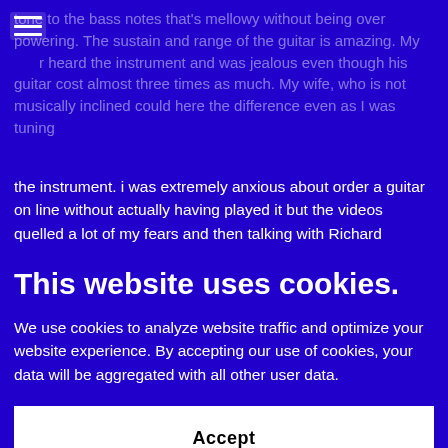tone to the bass notes that's mellowy without being over powering. The sustain and range of the guitar is amazing. My [brother] heard the instrument and was jealous even though his guitar cost almost three times as much. My wife, who is not musically inclined could here the difference even as I was tuning the instrument. i was extremely anxious about order a guitar on line without actually having played it but the videos quelled a lot of my fears and then talking with Richard reduced the anxiety to a manageable level. it only took me a micro second to fall in love the sound the beauty and the ease of playing this magnificent instrument. I am so fortunate to have embarked on a career that
This website uses cookies.
We use cookies to analyze website traffic and optimize your website experience. By accepting our use of cookies, your data will be aggregated with all other user data.
Accept